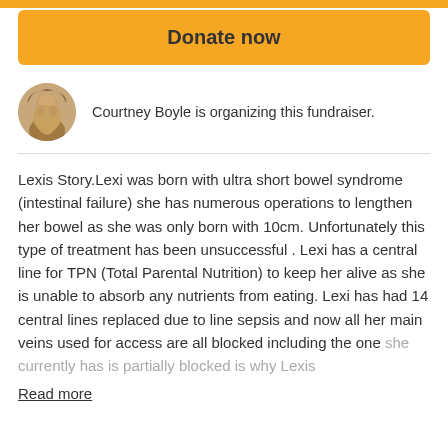[Figure (other): Orange top bar strip]
Donate now
[Figure (photo): Round avatar photo of Courtney Boyle, a woman with long blonde hair]
Courtney Boyle is organizing this fundraiser.
Lexis Story.Lexi was born with ultra short bowel syndrome (intestinal failure) she has numerous operations to lengthen her bowel as she was only born with 10cm. Unfortunately this type of treatment has been unsuccessful . Lexi has a central line for TPN (Total Parental Nutrition) to keep her alive as she is unable to absorb any nutrients from eating. Lexi has had 14 central lines replaced due to line sepsis and now all her main veins used for access are all blocked including the one she currently has is partially blocked is why Lexis
Read more